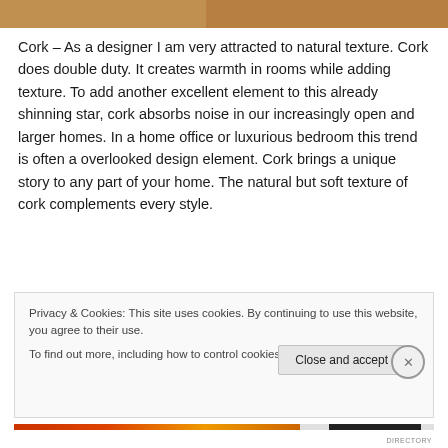[Figure (photo): Partial view of a room photo strip at the top of the page, showing warm brown/tan tones]
Cork – As a designer I am very attracted to natural texture. Cork does double duty. It creates warmth in rooms while adding texture. To add another excellent element to this already shinning star, cork absorbs noise in our increasingly open and larger homes. In a home office or luxurious bedroom this trend is often a overlooked design element. Cork brings a unique story to any part of your home. The natural but soft texture of cork complements every style.
Privacy & Cookies: This site uses cookies. By continuing to use this website, you agree to their use.
To find out more, including how to control cookies, see here: Cookie Policy
Close and accept